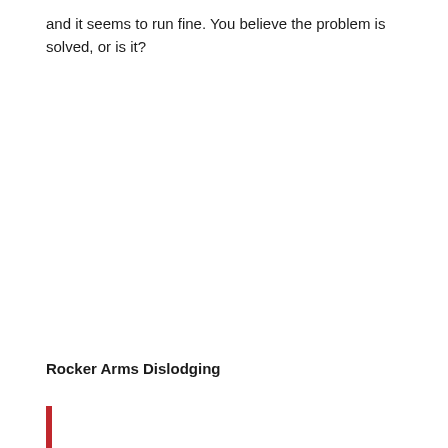and it seems to run fine. You believe the problem is solved, or is it?
Rocker Arms Dislodging